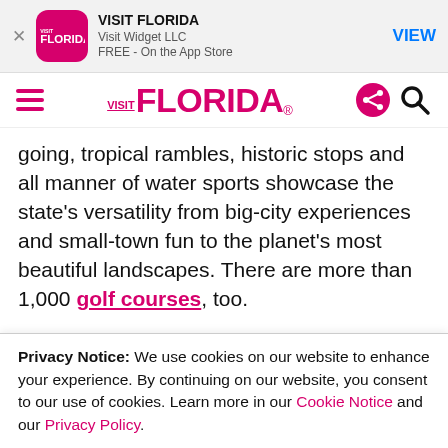[Figure (screenshot): App Store banner for VISIT FLORIDA app by Visit Widget LLC, FREE on the App Store, with VIEW button]
VISIT FLORIDA navigation bar with hamburger menu, Visit Florida logo, share and search icons
going, tropical rambles, historic stops and all manner of water sports showcase the state's versatility from big-city experiences and small-town fun to the planet's most beautiful landscapes. There are more than 1,000 golf courses, too.
Florida has more than 1,300 miles of coastline, and much of that is made up of sugar-sand beaches. Each region's beaches have their own personality. The laid-
Privacy Notice: We use cookies on our website to enhance your experience. By continuing on our website, you consent to our use of cookies. Learn more in our Cookie Notice and our Privacy Policy.